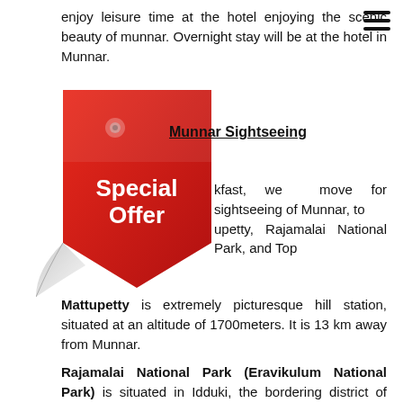enjoy leisure time at the hotel enjoying the scenic beauty of munnar. Overnight stay will be at the hotel in Munnar.
[Figure (illustration): Red 'Special Offer' price tag sticker overlaid on the page, partially covering the text.]
Munnar Sightseeing
kfast, we move for sightseeing of Munnar, to upetty, Rajamalai National Park, and Top
Mattupetty is extremely picturesque hill station, situated at an altitude of 1700meters. It is 13 km away from Munnar.
Rajamalai National Park (Eravikulum National Park) is situated in Idduki, the bordering district of Kerela and Tamil Nadu. Some of the rare animal species can be found here is, Elephant, Nilgiri langur, Nilgiri marten, small-clawed otter and a rare tiger or leopard and the Nilgiri wood pigeon etc.